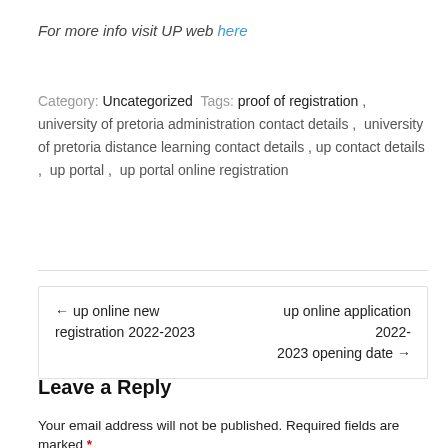For more info visit UP web here
Category: Uncategorized Tags: proof of registration , university of pretoria administration contact details , university of pretoria distance learning contact details , up contact details , up portal , up portal online registration
← up online new registration 2022-2023   up online application 2022-2023 opening date →
Leave a Reply
Your email address will not be published. Required fields are marked *